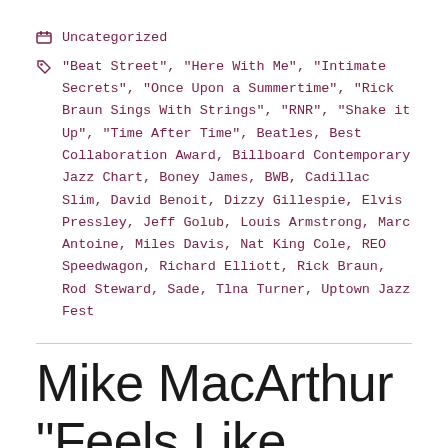Uncategorized
"Beat Street", "Here With Me", "Intimate Secrets", "Once Upon a Summertime", "Rick Braun Sings With Strings", "RNR", "Shake it Up", "Time After Time", Beatles, Best Collaboration Award, Billboard Contemporary Jazz Chart, Boney James, BWB, Cadillac Slim, David Benoit, Dizzy Gillespie, Elvis Pressley, Jeff Golub, Louis Armstrong, Marc Antoine, Miles Davis, Nat King Cole, REO Speedwagon, Richard Elliott, Rick Braun, Rod Steward, Sade, Tlna Turner, Uptown Jazz Fest
Mike MacArthur “Feels Like Home”
June 4, 2013 | Pink and Blue Notes | Leave a comment